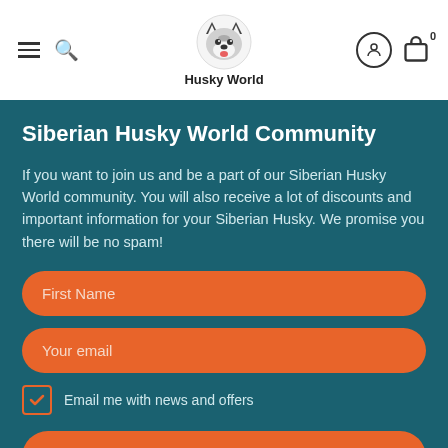Husky World — navigation header with menu, search, logo, account, and cart icons
Siberian Husky World Community
If you want to join us and be a part of our Siberian Husky World community. You will also receive a lot of discounts and important information for your Siberian Husky. We promise you there will be no spam!
First Name
Your email
Email me with news and offers
Subscribe